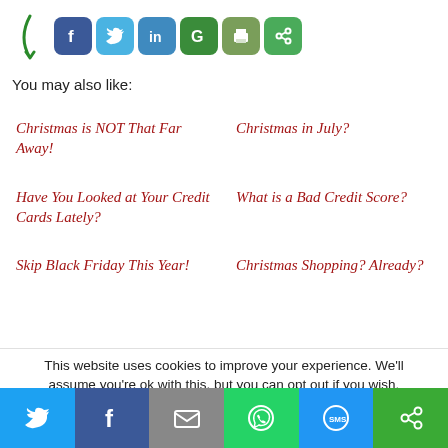[Figure (screenshot): Social sharing icons row: Facebook (blue), Twitter (light blue), LinkedIn (blue), Google+ (green), Print (olive green), and another green share icon, with a green arrow pointing to them from the left]
You may also like:
Christmas is NOT That Far Away!
Christmas in July?
Have You Looked at Your Credit Cards Lately?
What is a Bad Credit Score?
Skip Black Friday This Year!
Christmas Shopping? Already?
This website uses cookies to improve your experience. We'll assume you're ok with this, but you can opt out if you wish.
[Figure (screenshot): Bottom share bar with six buttons: Twitter (blue bird icon), Facebook (blue f icon), Email (grey envelope icon), WhatsApp (green phone icon), SMS (blue SMS bubble icon), and a green share icon]